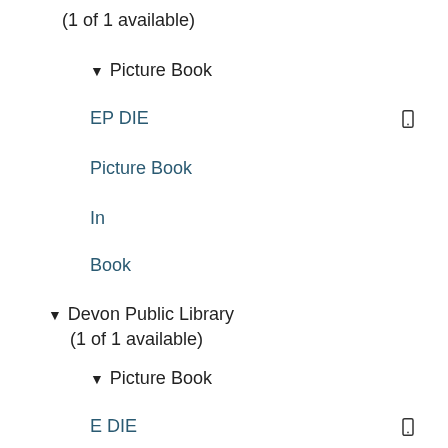(1 of 1 available)
▼ Picture Book
EP DIE
Picture Book
In
Book
▼ Devon Public Library (1 of 1 available)
▼ Picture Book
E DIE
Picture Books
In
Book